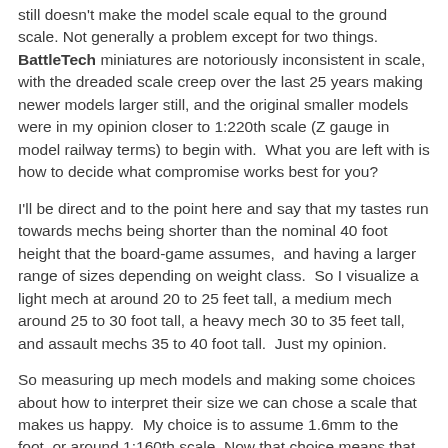still doesn't make the model scale equal to the ground scale. Not generally a problem except for two things. BattleTech miniatures are notoriously inconsistent in scale, with the dreaded scale creep over the last 25 years making newer models larger still, and the original smaller models were in my opinion closer to 1:220th scale (Z gauge in model railway terms) to begin with. What you are left with is how to decide what compromise works best for you?
I'll be direct and to the point here and say that my tastes run towards mechs being shorter than the nominal 40 foot height that the board-game assumes, and having a larger range of sizes depending on weight class. So I visualize a light mech at around 20 to 25 feet tall, a medium mech around 25 to 30 foot tall, a heavy mech 30 to 35 feet tall, and assault mechs 35 to 40 foot tall. Just my opinion.
So measuring up mech models and making some choices about how to interpret their size we can chose a scale that makes us happy. My choice is to assume 1.6mm to the foot, or around 1:160th scale. Now that choice means that even with a a larger ground scale the models are still about three